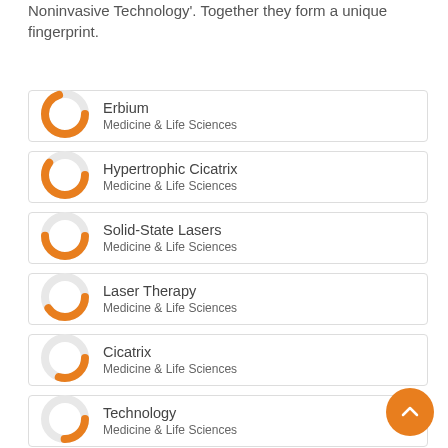Noninvasive Technology'. Together they form a unique fingerprint.
Erbium — Medicine & Life Sciences
Hypertrophic Cicatrix — Medicine & Life Sciences
Solid-State Lasers — Medicine & Life Sciences
Laser Therapy — Medicine & Life Sciences
Cicatrix — Medicine & Life Sciences
Technology — Medicine & Life Sciences